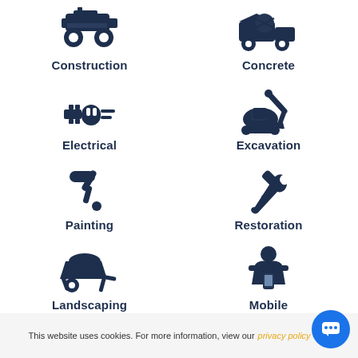[Figure (illustration): Construction category icon - construction machine/roller]
Construction
[Figure (illustration): Concrete category icon - concrete truck]
Concrete
[Figure (illustration): Electrical category icon - power plug]
Electrical
[Figure (illustration): Excavation category icon - excavator]
Excavation
[Figure (illustration): Painting category icon - paint roller]
Painting
[Figure (illustration): Restoration category icon - wrench and hammer crossed]
Restoration
[Figure (illustration): Landscaping category icon - wheelbarrow]
Landscaping
[Figure (illustration): Mobile category icon - person with mobile device]
Mobile
This website uses cookies. For more information, view our privacy policy OK